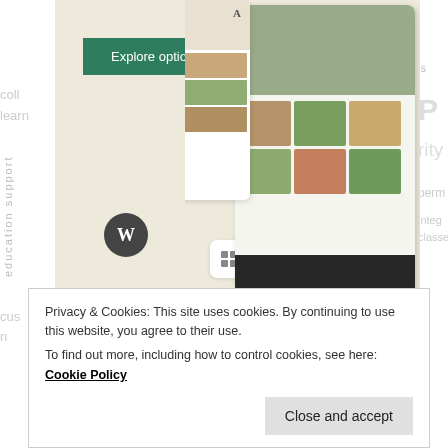[Figure (screenshot): Advertisement banner with 'Explore options' green button, WordPress logo, and food/recipe app mockup phone screenshots on a beige background. Small 'REPORT THIS AD' text at bottom right.]
TELL THE WORLD:
[Figure (infographic): Social share buttons: Facebook (blue circle), Twitter (blue circle), Email (grey circle), Print (grey circle), and a 'More' button with share icon.]
Loading...
Privacy & Cookies: This site uses cookies. By continuing to use this website, you agree to their use.
To find out more, including how to control cookies, see here: Cookie Policy
Close and accept